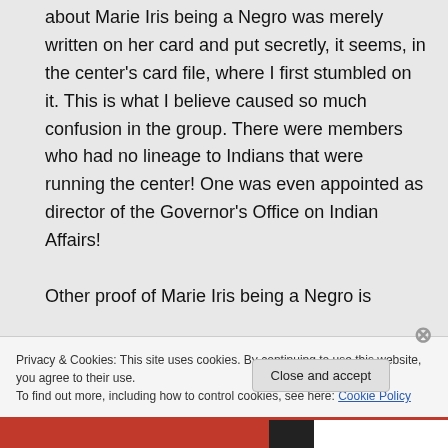about Marie Iris being a Negro was merely written on her card and put secretly, it seems, in the center's card file, where I first stumbled on it. This is what I believe caused so much confusion in the group. There were members who had no lineage to Indians that were running the center! One was even appointed as director of the Governor's Office on Indian Affairs!

Other proof of Marie Iris being a Negro is
Privacy & Cookies: This site uses cookies. By continuing to use this website, you agree to their use.
To find out more, including how to control cookies, see here: Cookie Policy
Close and accept